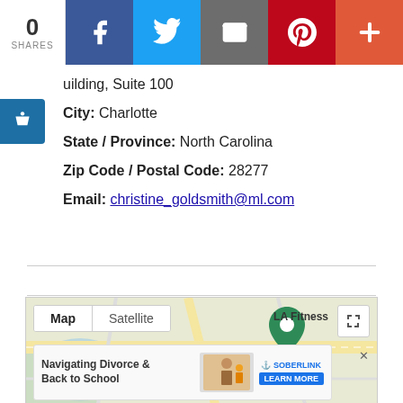[Figure (screenshot): Social share bar with 0 shares count, Facebook, Twitter, Email, Pinterest, and More buttons]
uilding, Suite 100
City: Charlotte
State / Province: North Carolina
Zip Code / Postal Code: 28277
Email: christine_goldsmith@ml.com
[Figure (map): Google Map showing location near LA Fitness in Charlotte, NC with Map/Satellite toggle and an ad banner for Navigating Divorce & Back to School by SOBERLINK]